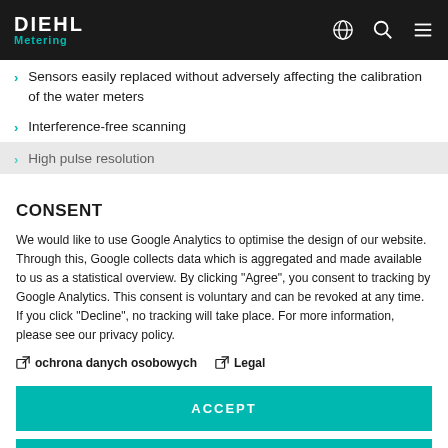DIEHL Metering
Sensors easily replaced without adversely affecting the calibration of the water meters
Interference-free scanning
High pulse resolution
CONSENT
We would like to use Google Analytics to optimise the design of our website. Through this, Google collects data which is aggregated and made available to us as a statistical overview. By clicking "Agree", you consent to tracking by Google Analytics. This consent is voluntary and can be revoked at any time. If you click "Decline", no tracking will take place. For more information, please see our privacy policy.
ochrona danych osobowych   Legal
ACCEPT
DECLINE